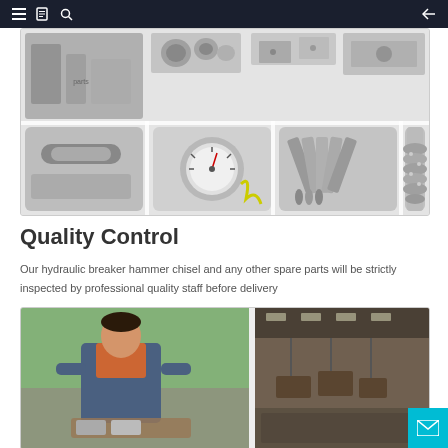Navigation bar with menu, catalog, and search icons
[Figure (photo): Collage of hydraulic breaker hammer chisels and spare parts including metal components, pressure gauge, cutting blades, and stacked cylinder parts]
Quality Control
Our hydraulic breaker hammer chisel and any other spare parts will be strictly inspected by professional quality staff before delivery
[Figure (photo): Two photos showing quality control inspection: a technician in orange workwear inspecting parts, and industrial equipment suspended in a factory]